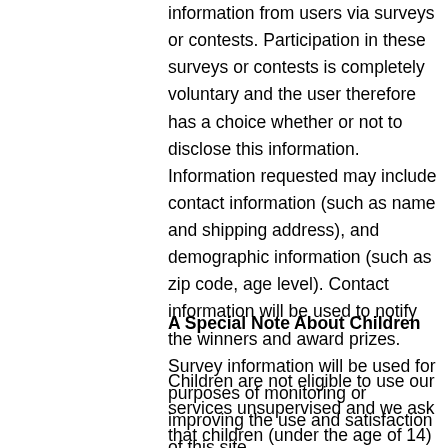information from users via surveys or contests. Participation in these surveys or contests is completely voluntary and the user therefore has a choice whether or not to disclose this information. Information requested may include contact information (such as name and shipping address), and demographic information (such as zip code, age level). Contact information will be used to notify the winners and award prizes. Survey information will be used for purposes of monitoring or improving the use and satisfaction of this site.
A Special Note About Children
Children are not eligible to use our services unsupervised and we ask that children (under the age of 14) do not submit any personal information to us. If you are a